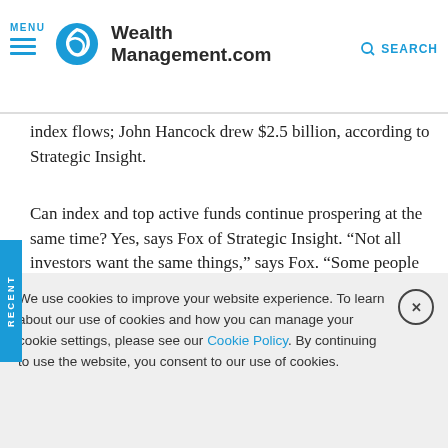MENU | WealthManagement.com | SEARCH
index flows; John Hancock drew $2.5 billion, according to Strategic Insight.
Can index and top active funds continue prospering at the same time? Yes, says Fox of Strategic Insight. “Not all investors want the same things,” says Fox. “Some people are disillusioned with active funds, and they want index funds with low fees.”
Some of the strongest flows went to exchange-traded funds
We use cookies to improve your website experience. To learn about our use of cookies and how you can manage your cookie settings, please see our Cookie Policy. By continuing to use the website, you consent to our use of cookies.